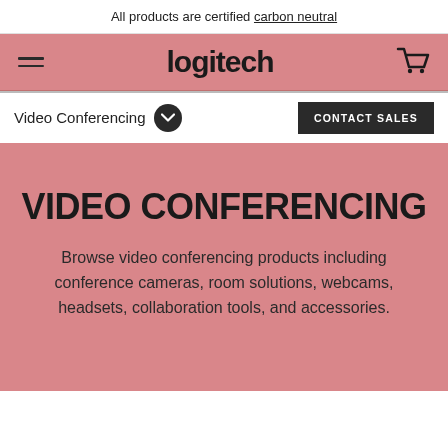All products are certified carbon neutral
logitech
Video Conferencing
CONTACT SALES
VIDEO CONFERENCING
Browse video conferencing products including conference cameras, room solutions, webcams, headsets, collaboration tools, and accessories.